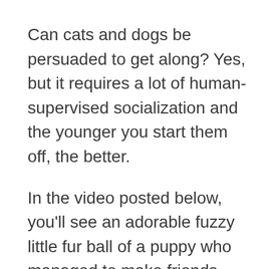Can cats and dogs be persuaded to get along? Yes, but it requires a lot of human-supervised socialization and the younger you start them off, the better.
In the video posted below, you'll see an adorable fuzzy little fur ball of a puppy who managed to make friends with three ridiculously cute tabby kittens. It was nap time, and they were all lying on their backs. The kittens were snoozing away, looking happy and comfortable. They looked like they could spend the rest of the day like that — and they probably did! The puppy, however, was wide awake and looked ready to do other things,